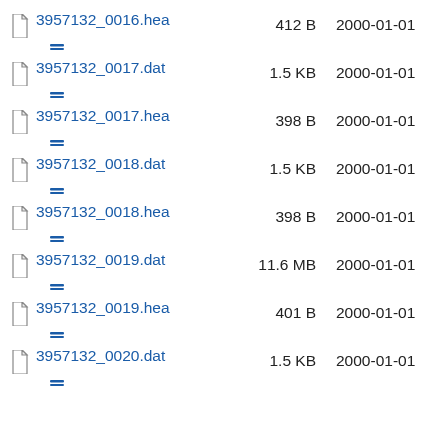3957132_0016.hea  412 B  2000-01-01
3957132_0017.dat  1.5 KB  2000-01-01
3957132_0017.hea  398 B  2000-01-01
3957132_0018.dat  1.5 KB  2000-01-01
3957132_0018.hea  398 B  2000-01-01
3957132_0019.dat  11.6 MB  2000-01-01
3957132_0019.hea  401 B  2000-01-01
3957132_0020.dat  1.5 KB  2000-01-01